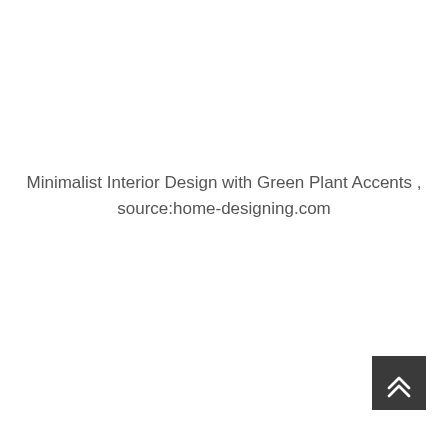Minimalist Interior Design with Green Plant Accents , source:home-designing.com
[Figure (other): Back-to-top button: dark gray square with double upward chevron arrows in white]